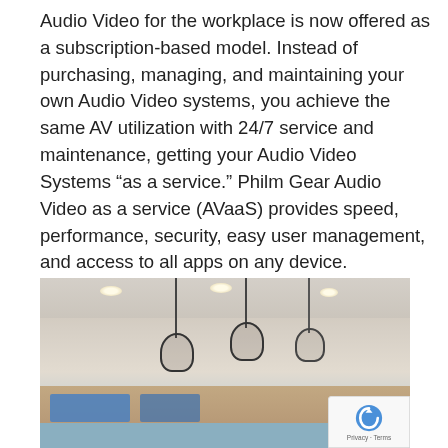Audio Video for the workplace is now offered as a subscription-based model. Instead of purchasing, managing, and maintaining your own Audio Video systems, you achieve the same AV utilization with 24/7 service and maintenance, getting your Audio Video Systems “as a service.” Philm Gear Audio Video as a service (AVaaS) provides speed, performance, security, easy user management, and access to all apps on any device.
[Figure (photo): Interior photo of a modern office or showroom space with pendant lights hanging from the ceiling and recessed lighting, with a warm wood-paneled background and blue display screens visible at the bottom.]